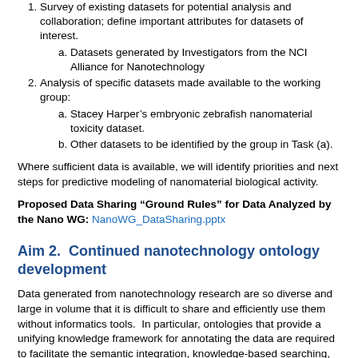1. Survey of existing datasets for potential analysis and collaboration; define important attributes for datasets of interest.
  a. Datasets generated by Investigators from the NCI Alliance for Nanotechnology
2. Analysis of specific datasets made available to the working group:
  a. Stacey Harper’s embryonic zebrafish nanomaterial toxicity dataset.
  b. Other datasets to be identified by the group in Task (a).
Where sufficient data is available, we will identify priorities and next steps for predictive modeling of nanomaterial biological activity.
Proposed Data Sharing “Ground Rules” for Data Analyzed by the Nano WG: NanoWG_DataSharing.pptx
Aim 2.  Continued nanotechnology ontology development
Data generated from nanotechnology research are so diverse and large in volume that it is difficult to share and efficiently use them without informatics tools.  In particular, ontologies that provide a unifying knowledge framework for annotating the data are required to facilitate the semantic integration, knowledge-based searching, unambiguous interpretation, mining and inferencing of the data using informatics methods.  The Nano WG supports the continuing